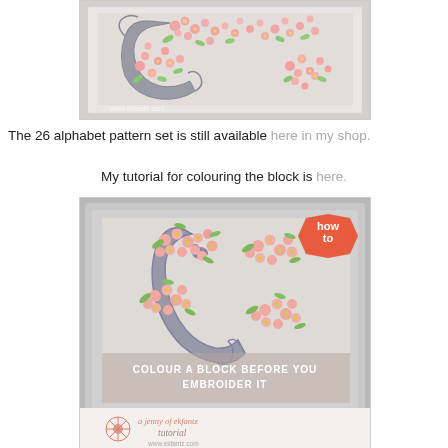[Figure (photo): Close-up photo of embroidered floral alphabet block in a silver frame, showing pink flowers and green leaves on grey letter, with watermark www.ekfantz.com]
The 26 alphabet pattern set is still available here in my shop.
My tutorial for colouring the block is here.
[Figure (photo): Photo of embroidered block in silver frame showing floral letter design with text 'COLOUR A BLOCK BEFORE YOU EMBROIDER IT', a 'how to' badge in orange top right corner, and 'a jenny of ekfantz tutorial www.ekfantz.com' branding at bottom]